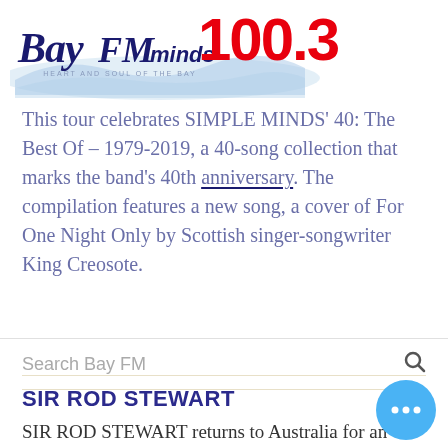Bay FM 100.3 — Heart and Soul of the Bay
This tour celebrates SIMPLE MINDS' 40: The Best Of – 1979-2019, a 40-song collection that marks the band's 40th anniversary. The compilation features a new song, a cover of For One Night Only by Scottish singer-songwriter King Creosote.
Search Bay FM
SIR ROD STEWART
SIR ROD STEWART returns to Australia for an eight-date tour across the country, playing both arenas and a day on the winery dates. Roundhouse Entertainment, in